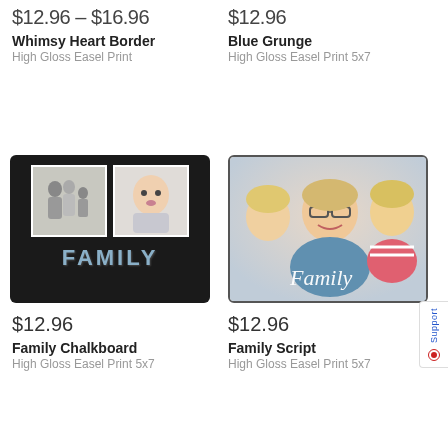$12.96 – $16.96
Whimsy Heart Border
High Gloss Easel Print
$12.96
Blue Grunge
High Gloss Easel Print 5x7
[Figure (photo): Family Chalkboard easel print with dark chalkboard background, two photos (family portrait and baby), and text FAMILY in blue chalk letters]
$12.96
Family Chalkboard
High Gloss Easel Print 5x7
[Figure (photo): Family Script easel print showing a smiling woman with glasses being kissed on cheeks by two blonde children, with cursive Family text overlay]
$12.96
Family Script
High Gloss Easel Print 5x7